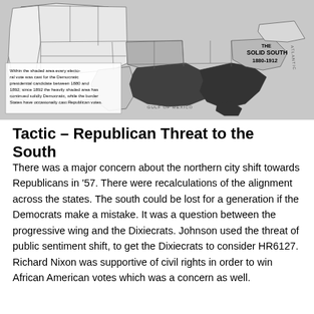[Figure (map): Historical map of the United States showing 'The Solid South 1880-1912'. The shaded (dark) area indicates every electoral vote was cast for the Democratic presidential candidate between 1880 and 1892; since 1892 the heavily shaded area has continued solidly Democratic, while the border States have occasionally cast Republican votes. The Gulf of Mexico and Atlantic Ocean are labeled. Lighter shading covers border states.]
Tactic – Republican Threat to the South
There was a major concern about the northern city shift towards Republicans in '57. There were recalculations of the alignment across the states. The south could be lost for a generation if the Democrats make a mistake. It was a question between the progressive wing and the Dixiecrats. Johnson used the threat of public sentiment shift, to get the Dixiecrats to consider HR6127. Richard Nixon was supportive of civil rights in order to win African American votes which was a concern as well.